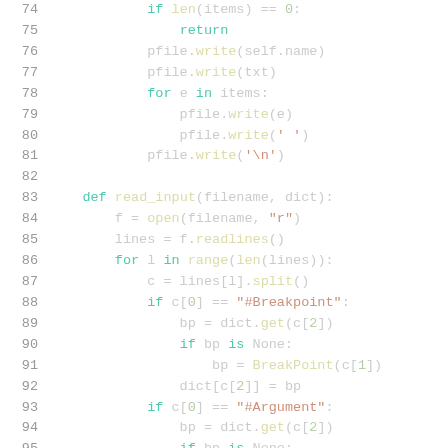Python source code lines 74-95 showing file writing and read_input function